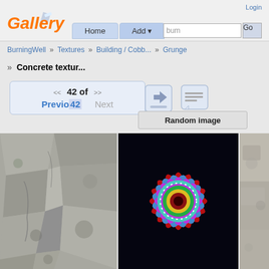Gallery
Login
Home   Add
bum  Go
BurningWell » Textures » Building / Cobb... » Grunge
» Concrete textur...
<< 42 of >> Previous 42 Next
[Figure (screenshot): Action icons: forward/share icon and comment icon]
Random image
[Figure (photo): Left: cobblestone/concrete texture photo in gray tones]
[Figure (photo): Center: colorful mandala flower illustration with purple petals and multicolored center on black background]
[Figure (photo): Right: stone/gravel texture photo]